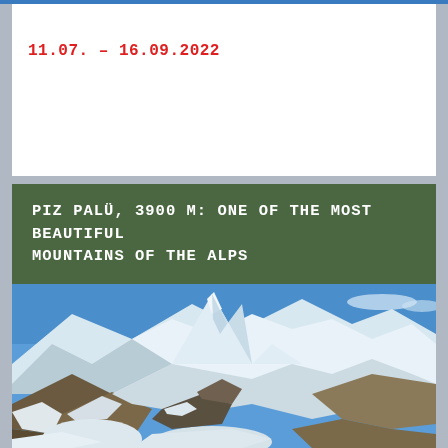11.07. – 16.09.2022
PIZ PALÜ, 3900 M: ONE OF THE MOST BEAUTIFUL MOUNTAINS OF THE ALPS
[Figure (photo): Photograph of Piz Palü mountain peak covered in snow and ice, with rocky terrain in the foreground and blue sky in the background]